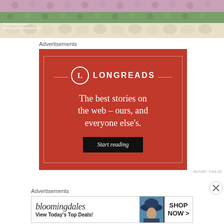[Figure (photo): Close-up photo of crocheted fabric with pink, green, and cream colors. Watermark text: © 2012 Sue Rivers, crochelogans.wordpress.com]
Advertisements
[Figure (screenshot): Longreads advertisement on red background. Logo: circle with L and text LONGREADS. Tagline: The best stories on the web – ours, and everyone else's. Button: Start reading]
REPORT THIS AD
Advertisements
[Figure (screenshot): Bloomingdale's advertisement with logo, tagline 'View Today's Top Deals!', image of woman with large hat, and SHOP NOW > button]